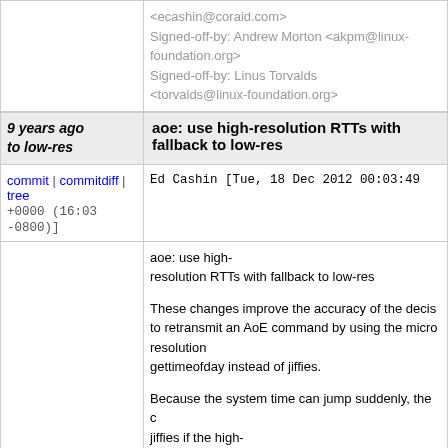<ecashin@coraid.com>
Signed-off-by: Andrew Morton <akpm@linux-foundation.org>
Signed-off-by: Linus Torvalds <torvalds@linux-foundation.org>
9 years ago to low-res | aoe: use high-resolution RTTs with fallback to low-res
commit | commitdiff | tree   Ed Cashin [Tue, 18 Dec 2012 00:03:49 +0000 (16:03 -0800)]
aoe: use high-resolution RTTs with fallback to low-res

These changes improve the accuracy of the decision to retransmit an AoE command by using the micro resolution gettimeofday instead of jiffies.

Because the system time can jump suddenly, the code falls back to jiffies if the high-resolution time difference is relatively large. Otherwise the AoE targets could be considered fa...
Signed-off-by: Ed Cashin <ecashin@coraid.com>
Signed-off-by: Andrew Morton <akpm@linux-foundation.org>
Signed-off-by: Linus Torvalds <torvalds@linux-foundation.org>